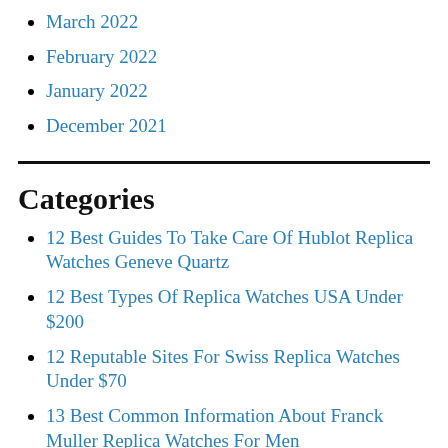March 2022
February 2022
January 2022
December 2021
Categories
12 Best Guides To Take Care Of Hublot Replica Watches Geneve Quartz
12 Best Types Of Replica Watches USA Under $200
12 Reputable Sites For Swiss Replica Watches Under $70
13 Best Common Information About Franck Muller Replica Watches For Men